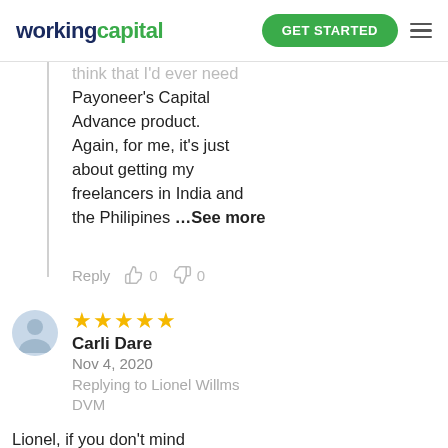workingcapital | GET STARTED
think that I'd ever need Payoneer's Capital Advance product. Again, for me, it's just about getting my freelancers in India and the Philipines …See more
Reply  0  0
★★★★★
Carli Dare
Nov 4, 2020
Replying to Lionel Willms DVM

Lionel, if you don't mind me asking, how much money are you sending